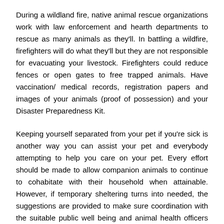During a wildland fire, native animal rescue organizations work with law enforcement and hearth departments to rescue as many animals as they'll. In battling a wildfire, firefighters will do what they'll but they are not responsible for evacuating your livestock. Firefighters could reduce fences or open gates to free trapped animals. Have vaccination/ medical records, registration papers and images of your animals (proof of possession) and your Disaster Preparedness Kit.
Keeping yourself separated from your pet if you're sick is another way you can assist your pet and everybody attempting to help you care on your pet. Every effort should be made to allow companion animals to continue to cohabitate with their household when attainable. However, if temporary sheltering turns into needed, the suggestions are provided to make sure coordination with the suitable public well being and animal health officers and to reduce infection threat to shelter staff and volunteers. While the risks of COVID-19 from contact with such animals are considered very low, it's nonetheless prudent